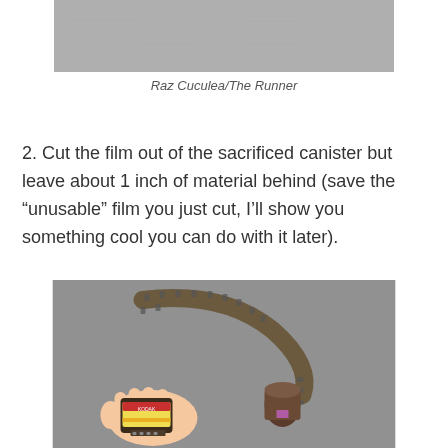[Figure (photo): Cropped bottom portion of a photo showing a grey surface, top of page]
Raz Cuculea/The Runner
2. Cut the film out of the sacrificed canister but leave about 1 inch of material behind (save the “unusable” film you just cut, I’ll show you something cool you can do with it later).
[Figure (photo): A hand holding a small 35mm film canister with colorful label, next to a curved strip of brown/olive 35mm film and another small canister on a grey surface]